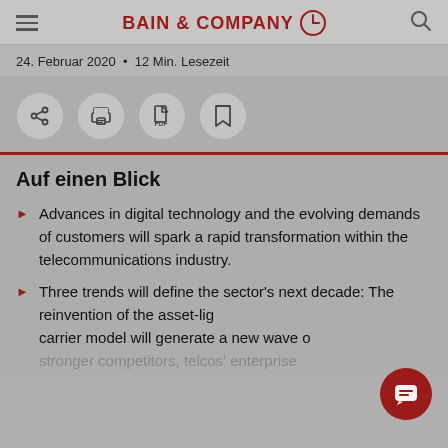BAIN & COMPANY
24. Februar 2020 • 12 Min. Lesezeit
Auf einen Blick
Advances in digital technology and the evolving demands of customers will spark a rapid transformation within the telecommunications industry.
Three trends will define the sector's next decade: The reinvention of the asset-light carrier model will generate a new wave of stronger competitors, telcos' enterprise...